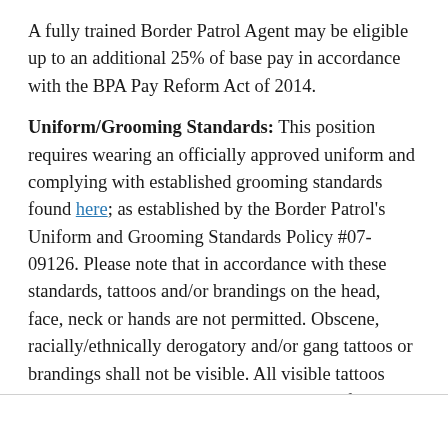A fully trained Border Patrol Agent may be eligible up to an additional 25% of base pay in accordance with the BPA Pay Reform Act of 2014.
Uniform/Grooming Standards: This position requires wearing an officially approved uniform and complying with established grooming standards found here; as established by the Border Patrol's Uniform and Grooming Standards Policy #07-09126. Please note that in accordance with these standards, tattoos and/or brandings on the head, face, neck or hands are not permitted. Obscene, racially/ethnically derogatory and/or gang tattoos or brandings shall not be visible. All visible tattoos and/or brandings will be covered while performing the following volunteer duties: Recruiting, Public Affairs Officer, Oral Hiring Boards, International Liaison duties, Community Affairs or judicial proceedings.